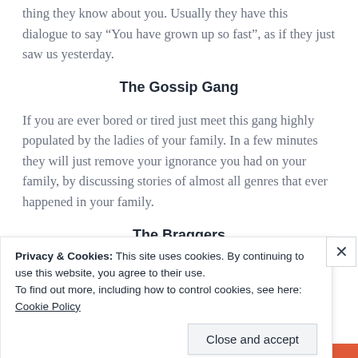thing they know about you. Usually they have this dialogue to say “You have grown up so fast”, as if they just saw us yesterday.
The Gossip Gang
If you are ever bored or tired just meet this gang highly populated by the ladies of your family. In a few minutes they will just remove your ignorance you had on your family, by discussing stories of almost all genres that ever happened in your family.
The Braggers
Privacy & Cookies: This site uses cookies. By continuing to use this website, you agree to their use.
To find out more, including how to control cookies, see here: Cookie Policy
Close and accept